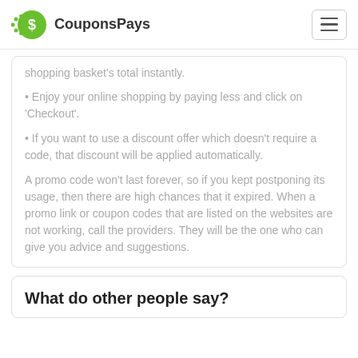CouponsPays
shopping basket's total instantly.
• Enjoy your online shopping by paying less and click on 'Checkout'.
• If you want to use a discount offer which doesn't require a code, that discount will be applied automatically.
A promo code won't last forever, so if you kept postponing its usage, then there are high chances that it expired. When a promo link or coupon codes that are listed on the websites are not working, call the providers. They will be the one who can give you advice and suggestions.
What do other people say?